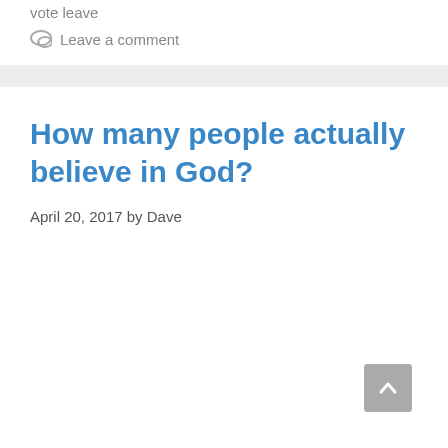vote leave
Leave a comment
How many people actually believe in God?
April 20, 2017 by Dave